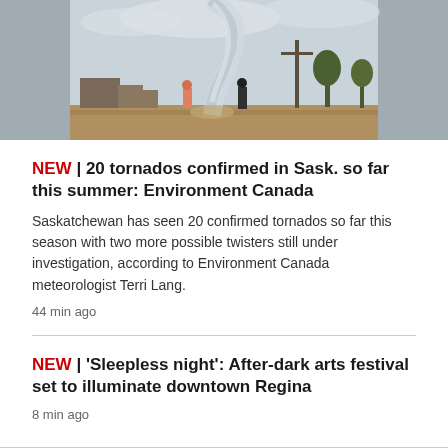[Figure (photo): Outdoor photo showing a tornado or large dust funnel in the background, with two people standing in a dirt lot in the foreground watching it. There are utility poles, trees, and buildings visible.]
NEW | 20 tornados confirmed in Sask. so far this summer: Environment Canada
Saskatchewan has seen 20 confirmed tornados so far this season with two more possible twisters still under investigation, according to Environment Canada meteorologist Terri Lang.
44 min ago
NEW | 'Sleepless night': After-dark arts festival set to illuminate downtown Regina
8 min ago